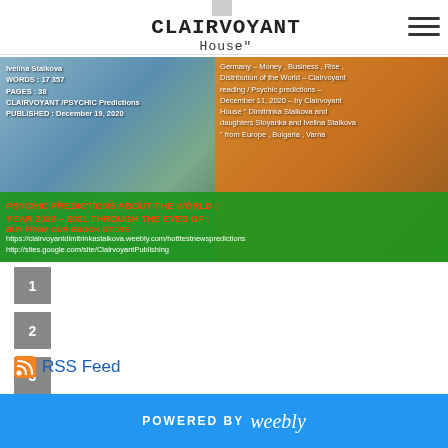CLAIRVOYANT House"
[Figure (screenshot): Banner image showing book/publication info on left (Ivelina Staikova, WORDS: 17 357, PAGES: 38, CLAIRVOYANT/PSYCHIC Predictions, PUBLISHED: December 19, 2020) and psychic reading description on right (Germany - Money, Business, Rise - Distribution of the World - Clairvoyant reading / Psychic predictions - December 11, 2020 - by Clairvoyant House Dimitrinka Staikova and daughters Stoyanka and Ivelina Staikova from Europe, Bulgaria, Varna). Green overlay at bottom with red text: PSYCHIC PREDICTIONS ABOUT THE WORLD: YEAR 2020-2021 THROUGH THE EYES OF: with buy links.]
1
2
3
4
RSS Feed
POWERED BY weebly